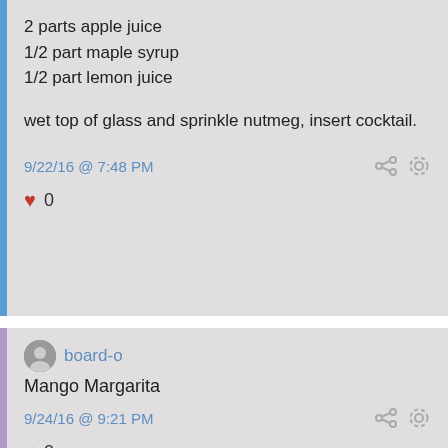2 parts apple juice
1/2 part maple syrup
1/2 part lemon juice
wet top of glass and sprinkle nutmeg, insert cocktail.
9/22/16 @ 7:48 PM
0
board-o
Mango Margarita
9/24/16 @ 9:21 PM
0